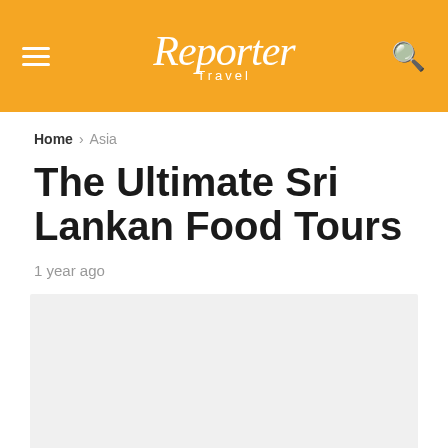Reporter Travel
Home › Asia
The Ultimate Sri Lankan Food Tours
1 year ago
[Figure (photo): Article hero image placeholder (light gray box)]